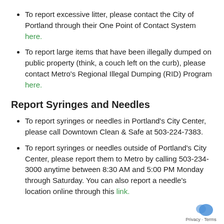To report excessive litter, please contact the City of Portland through their One Point of Contact System here.
To report large items that have been illegally dumped on public property (think, a couch left on the curb), please contact Metro's Regional Illegal Dumping (RID) Program here.
Report Syringes and Needles
To report syringes or needles in Portland's City Center, please call Downtown Clean & Safe at 503-224-7383.
To report syringes or needles outside of Portland's City Center, please report them to Metro by calling 503-234-3000 anytime between 8:30 AM and 5:00 PM Monday through Saturday. You can also report a needle's location online through this link.